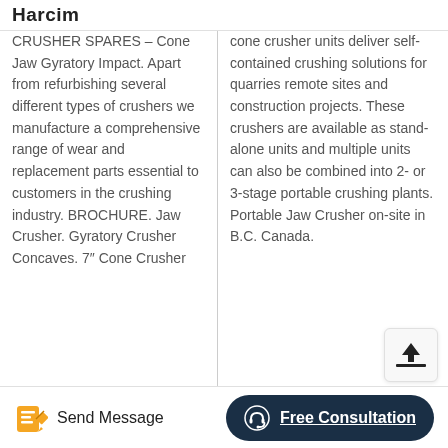Harcim
CRUSHER SPARES – Cone Jaw Gyratory Impact. Apart from refurbishing several different types of crushers we manufacture a comprehensive range of wear and replacement parts essential to customers in the crushing industry. BROCHURE. Jaw Crusher. Gyratory Crusher Concaves. 7" Cone Crusher
cone crusher units deliver self-contained crushing solutions for quarries remote sites and construction projects. These crushers are available as stand-alone units and multiple units can also be combined into 2- or 3-stage portable crushing plants. Portable Jaw Crusher on-site in B.C. Canada.
Send Message
Free Consultation